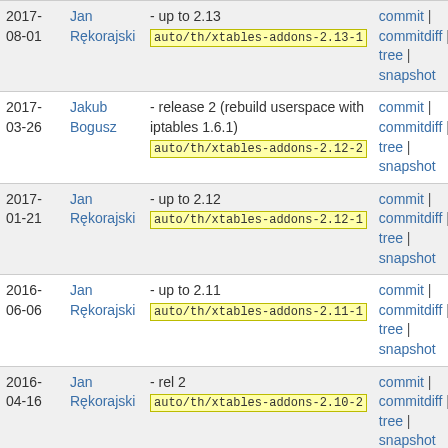| Date | Author | Message | Links |
| --- | --- | --- | --- |
| 2017-08-01 | Jan Rękorajski | - up to 2.13  auto/th/xtables-addons-2.13-1 | commit | commitdiff | tree | snapshot |
| 2017-03-26 | Jakub Bogusz | - release 2 (rebuild userspace with iptables 1.6.1)  auto/th/xtables-addons-2.12-2 | commit | commitdiff | tree | snapshot |
| 2017-01-21 | Jan Rękorajski | - up to 2.12  auto/th/xtables-addons-2.12-1 | commit | commitdiff | tree | snapshot |
| 2016-06-06 | Jan Rękorajski | - up to 2.11  auto/th/xtables-addons-2.11-1 | commit | commitdiff | tree | snapshot |
| 2016-04-16 | Jan Rękorajski | - rel 2  auto/th/xtables-addons-2.10-2 | commit | commitdiff | tree | snapshot |
| 2015- | Jan | - up to 2.10  auto/th/xtables-addons- | commit | |